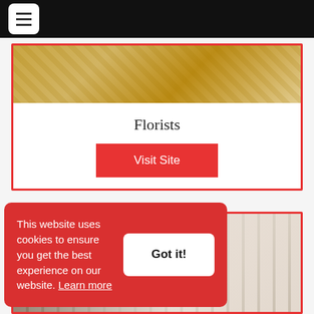[Figure (screenshot): Black navigation bar with white hamburger menu icon button]
[Figure (photo): Florist card header image showing golden floral arrangements]
Florists
Visit Site
[Figure (photo): Second card partially visible, showing white Chiavari chairs stacked in a venue]
This website uses cookies to ensure you get the best experience on our website. Learn more
Got it!